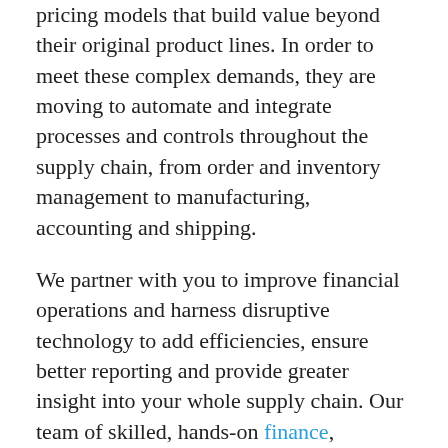pricing models that build value beyond their original product lines. In order to meet these complex demands, they are moving to automate and integrate processes and controls throughout the supply chain, from order and inventory management to manufacturing, accounting and shipping.
We partner with you to improve financial operations and harness disruptive technology to add efficiencies, ensure better reporting and provide greater insight into your whole supply chain. Our team of skilled, hands-on finance, technology and risk professionals help solve your biggest business challenges with proven, strategic and scalable solutions, so you can remain competitive.